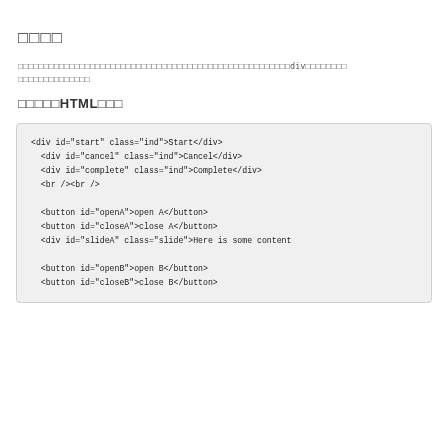□□□□
□□□□□□□□□□□□□□□□□□□□□□□□□□□□□□□□□□□□□□□□□□□□□□□□□□□□□div□□□□□□□□□□□□□□□□□□□□□
□□□□□HTML□□□
<div id="start" class="ind">Start</div>
  <div id="cancel" class="ind">Cancel</div>
  <div id="complete" class="ind">Complete</div>
  <br /><br />

  <button id="openA">open A</button>
  <button id="closeA">close A</button>
  <div id="slideA" class="slide">Here is some content

  <button id="openB">open B</button>
  <button id="closeB">close B</button>